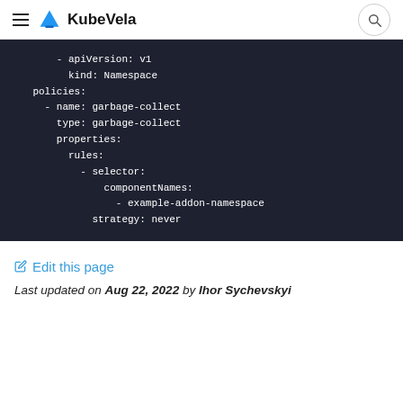KubeVela
[Figure (screenshot): Dark code block showing YAML configuration with apiVersion, kind, policies, garbage-collect name and type, properties with rules including selector, componentNames, example-addon-namespace, and strategy: never]
Edit this page
Last updated on Aug 22, 2022 by Ihor Sychevskyi